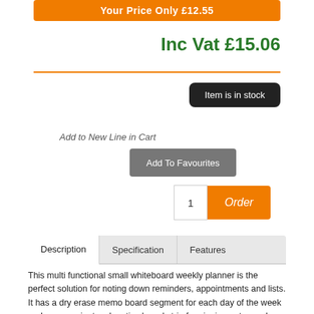Your Price Only £12.55
Inc Vat £15.06
Item is in stock
Add to New Line in Cart
Add To Favourites
1
Order
Description   Specification   Features
This multi functional small whiteboard weekly planner is the perfect solution for noting down reminders, appointments and lists. It has a dry erase memo board segment for each day of the week and a convenient cork notice board strip for pinning notes and memos. Wall mountable